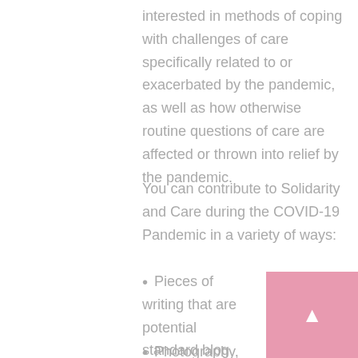interested in methods of coping with challenges of care specifically related to or exacerbated by the pandemic, as well as how otherwise routine questions of care are affected or thrown into relief by the pandemic.
You can contribute to Solidarity and Care during the COVID-19 Pandemic in a variety of ways:
Pieces of writing that are potential standard blog articles (essays between 800-1500 words).
Photography, graphics, memes, visual art.
Sound or video recording related to projects of collective care in the pandemic